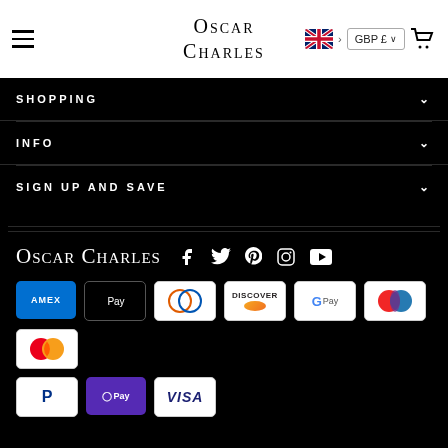Oscar Charles — navigation header with hamburger menu, logo, UK flag, GBP £ currency selector, and cart icon
SHOPPING
INFO
SIGN UP AND SAVE
[Figure (logo): Oscar Charles logo in white serif font with social media icons: Facebook, Twitter, Pinterest, Instagram, YouTube]
[Figure (other): Payment method icons: AMEX, Apple Pay, Diners Club, Discover, Google Pay, Maestro, Mastercard, PayPal, OPay, VISA]